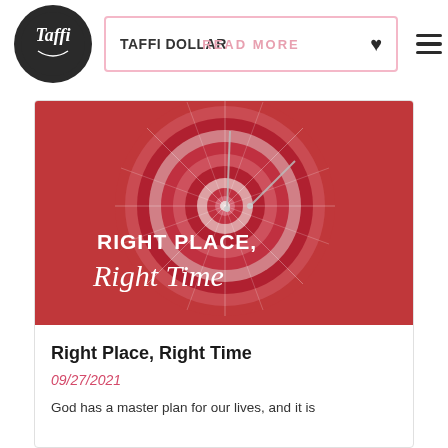TAFFI DOLLAR | READ MORE
[Figure (photo): Dartboard photo with text overlay reading 'RIGHT PLACE, Right Time' in white lettering, red and white dart board with darts.]
Right Place, Right Time
09/27/2021
God has a master plan for our lives, and it is